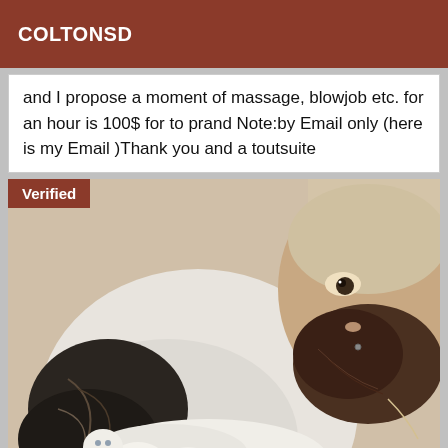COLTONSD
and I propose a moment of massage, blowjob etc. for an hour is 100$ for to prand Note:by Email only (here is my Email )Thank you and a toutsuite
[Figure (photo): A man with a dark beard and tattoos on his arm wearing a white t-shirt, holding a white cat, with a 'Verified' badge overlay in the top-left corner.]